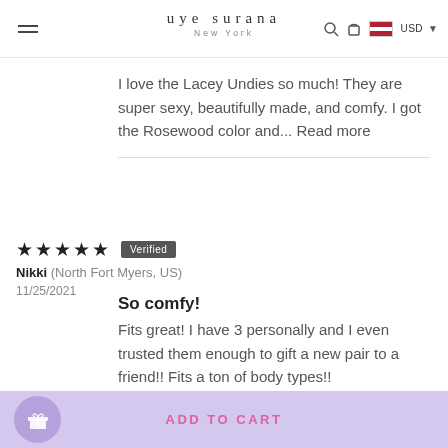uye surana New York
I love the Lacey Undies so much! They are super sexy, beautifully made, and comfy. I got the Rosewood color and... Read more
★★★★★ Verified
Nikki (North Fort Myers, US) 11/25/2021
So comfy!
Fits great! I have 3 personally and I even trusted them enough to gift a new pair to a friend!! Fits a ton of body types!!
ADD TO CART